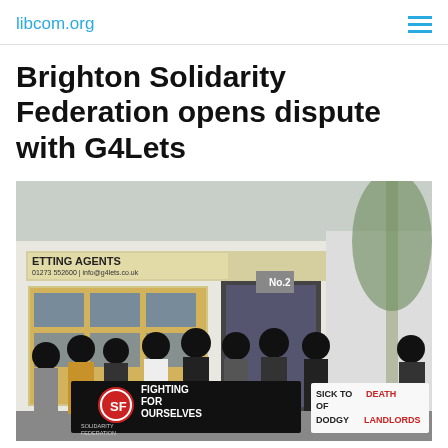libcom.org
Brighton Solidarity Federation opens dispute with G4Lets
[Figure (photo): Protesters standing outside a letting agents office (G4Lets, No.2). People with blacked-out faces holding banners reading 'SF SOLIDARITY FEDERATION FIGHTING FOR OURSELVES' and 'SICK TO DEATH OF DODGY LANDLORDS'.]